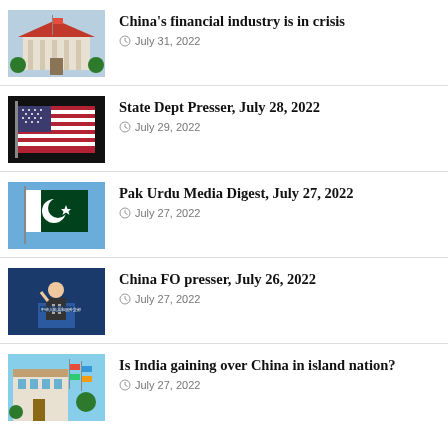[Figure (photo): Chinese government building (central bank)]
China's financial industry is in crisis
July 31, 2022
[Figure (photo): American flag waving against dark background]
State Dept Presser, July 28, 2022
July 29, 2022
[Figure (photo): Pakistan flag on a pole against blue sky]
Pak Urdu Media Digest, July 27, 2022
July 27, 2022
[Figure (photo): Chinese foreign affairs official speaking at podium]
China FO presser, July 26, 2022
July 27, 2022
[Figure (photo): Building with colorful flags]
Is India gaining over China in island nation?
July 27, 2022